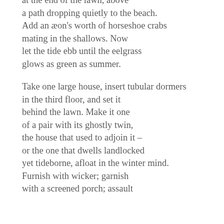at the end of the lawn, above
a path dropping quietly to the beach.
Add an æon's worth of horseshoe crabs
mating in the shallows. Now
let the tide ebb until the eelgrass
glows as green as summer.

Take one large house, insert tubular dormers
in the third floor, and set it
behind the lawn. Make it one
of a pair with its ghostly twin,
the house that used to adjoin it –
or the one that dwells landlocked
yet tideborne, afloat in the winter mind.
Furnish with wicker; garnish
with a screened porch; assault